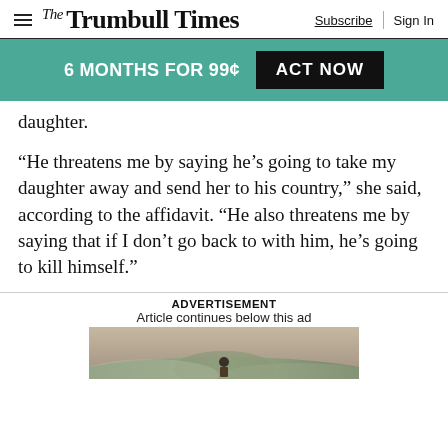The Trumbull Times | Subscribe | Sign In
6 MONTHS FOR 99¢ ACT NOW
daughter.
“He threatens me by saying he’s going to take my daughter away and send her to his country,” she said, according to the affidavit. “He also threatens me by saying that if I don’t go back to with him, he’s going to kill himself.”
ADVERTISEMENT
Article continues below this ad
[Figure (photo): A person viewed from behind standing in a misty/foggy landscape with hills or water in the background.]